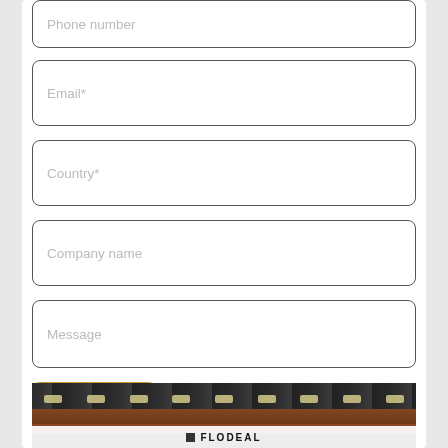Phone number
Email*
Country*
Company name
Message
Submit
[Figure (photo): Warehouse interior with dark ceiling, industrial lights, brick wall, and Flodeal logo strip at bottom]